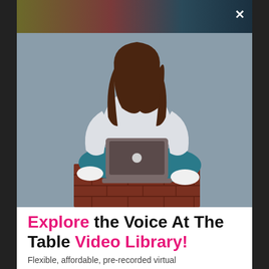[Figure (illustration): Modal popup overlay on dark background. Top bar shows blurred colorful background with a white X close button. Main area shows illustration of a faceless woman with long brown hair, wearing a white sweater and teal jeans, sitting cross-legged on a dark red brick bench/surface, working on a gray laptop. Background is a muted blue-gray color.]
Explore the Voice At The Table Video Library!
Flexible, affordable, pre-recorded virtual